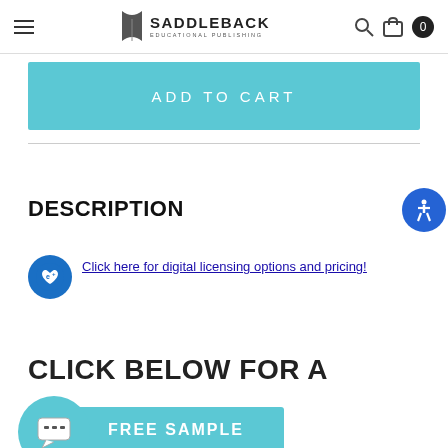Saddleback Educational Publishing
ADD TO CART
DESCRIPTION
Click here for digital licensing options and pricing!
CLICK BELOW FOR A
FREE SAMPLE